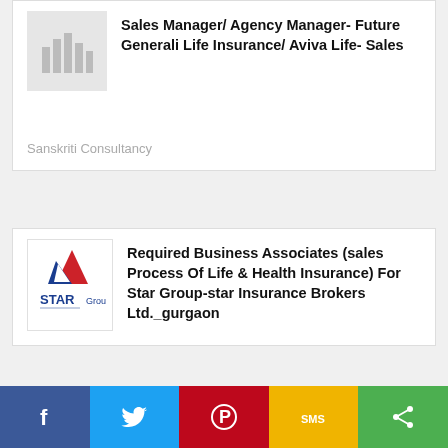[Figure (logo): Placeholder logo with bar chart icon]
Sales Manager/ Agency Manager- Future Generali Life Insurance/ Aviva Life- Sales
Sanskriti Consultancy
[Figure (logo): Star Group logo with red and blue star graphic]
Required Business Associates (sales Process Of Life & Health Insurance) For Star Group-star Insurance Brokers Ltd._gurgaon
f  (twitter)  (pinterest)  SMS  (share)